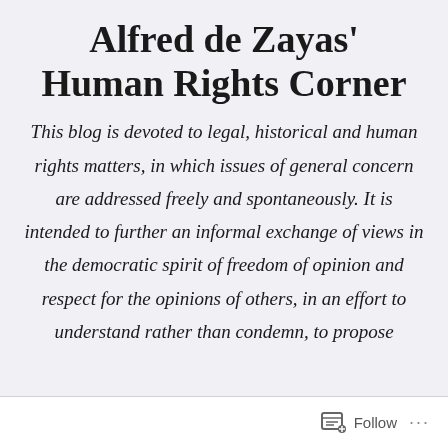Alfred de Zayas' Human Rights Corner
This blog is devoted to legal, historical and human rights matters, in which issues of general concern are addressed freely and spontaneously. It is intended to further an informal exchange of views in the democratic spirit of freedom of opinion and respect for the opinions of others, in an effort to understand rather than condemn, to propose
Follow ...